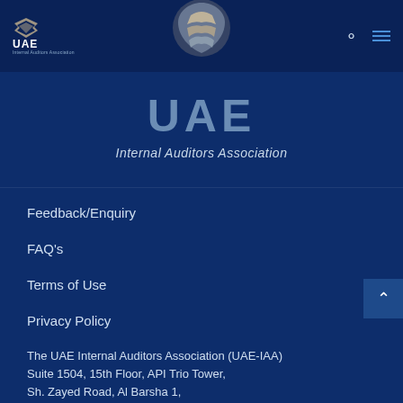UAE Internal Auditors Association
UAE
Internal Auditors Association
Feedback/Enquiry
FAQ's
Terms of Use
Privacy Policy
The UAE Internal Auditors Association (UAE-IAA)
Suite 1504, 15th Floor, API Trio Tower,
Sh. Zayed Road, Al Barsha 1,